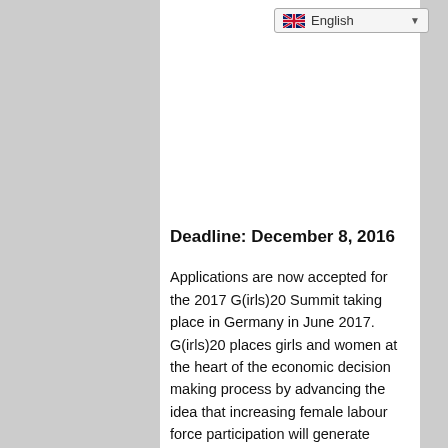English
Deadline: December 8, 2016
Applications are now accepted for the 2017 G(irls)20 Summit taking place in Germany in June 2017. G(irls)20 places girls and women at the heart of the economic decision making process by advancing the idea that increasing female labour force participation will generate growth, stabilize communities and countries, and lead to social innovation. Designed G20 style, the